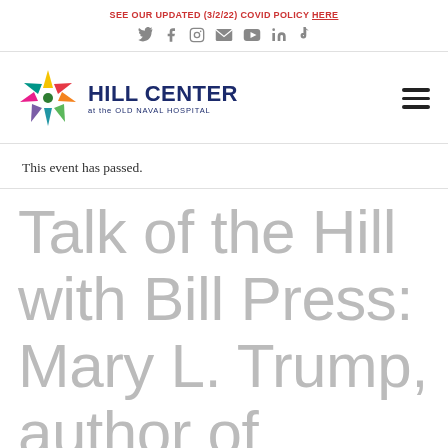SEE OUR UPDATED (3/2/22) COVID POLICY HERE
[Figure (illustration): Social media icons: Twitter, Facebook, Instagram, Email, YouTube, LinkedIn, TikTok]
[Figure (logo): Hill Center at the Old Naval Hospital logo with colorful star and navy blue text]
This event has passed.
Talk of the Hill with Bill Press: Mary L. Trump, author of